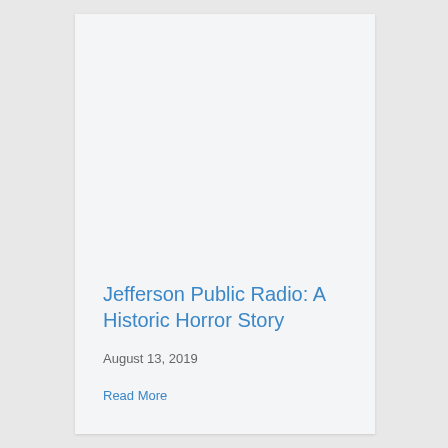Jefferson Public Radio: A Historic Horror Story
August 13, 2019
Read More